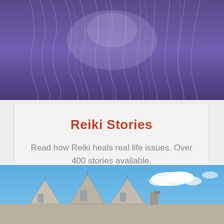[Figure (photo): Close-up of purple/blue fabric or feathers with soft texture]
Reiki Stories
Read how Reiki heals real life issues. Over 400 stories available.
READ STORIES »
[Figure (photo): Gothic style stone building rooftops with pointed gables against a blue sky with clouds]